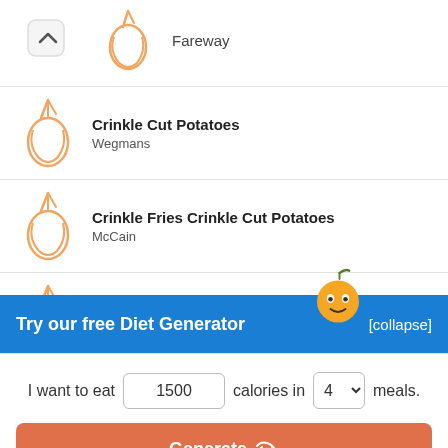Fareway
Crinkle Cut Potatoes
Wegmans
Crinkle Fries Crinkle Cut Potatoes
McCain
Fries, Sweet Potato Crinkle Cut
Sweet Potato Crinkle Cut, McCain
Crinkle Cut Fried Potatoes
Try our free Diet Generator [collapse]
I want to eat 1500 calories in 4 meals.
Generate